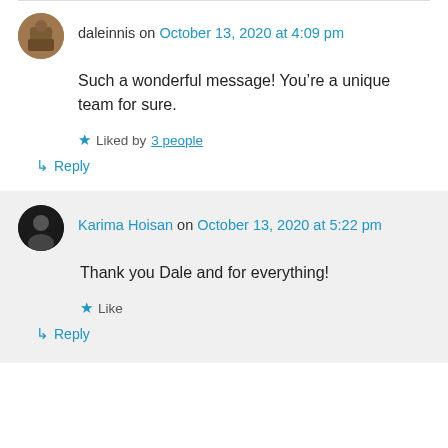daleinnis on October 13, 2020 at 4:09 pm
Such a wonderful message! You’re a unique team for sure.
★ Liked by 3 people
↳ Reply
Karima Hoisan on October 13, 2020 at 5:22 pm
Thank you Dale and for everything!
★ Like
↳ Reply